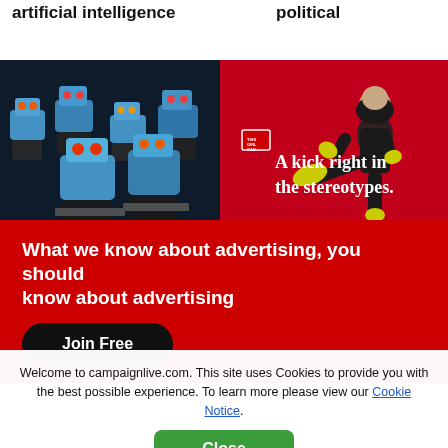artificial intelligence
political
[Figure (photo): Illustration of multiple blue robots sitting at desks with laptops]
[Figure (photo): Woman in hijab doing a high kick in front of red background with text 'A kick right in the stereotypes.']
What we know about advertising, you should know about advertising
Join Free
Welcome to campaignlive.com. This site uses Cookies to provide you with the best possible experience. To learn more please view our Cookie Notice.
Close